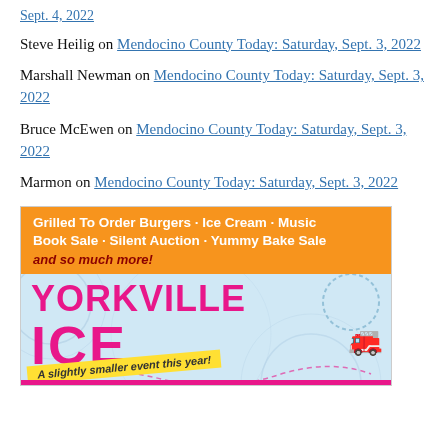Sept. 4, 2022
Steve Heilig on Mendocino County Today: Saturday, Sept. 3, 2022
Marshall Newman on Mendocino County Today: Saturday, Sept. 3, 2022
Bruce McEwen on Mendocino County Today: Saturday, Sept. 3, 2022
Marmon on Mendocino County Today: Saturday, Sept. 3, 2022
[Figure (illustration): Advertisement for Yorkville Ice Cream event. Orange banner reads 'Grilled To Order Burgers · Ice Cream · Music Book Sale · Silent Auction · Yummy Bake Sale and so much more!' followed by large pink text 'YORKVILLE ICE' on a light blue background with a yellow ribbon reading 'A slightly smaller event this year!' and a fire truck icon.]